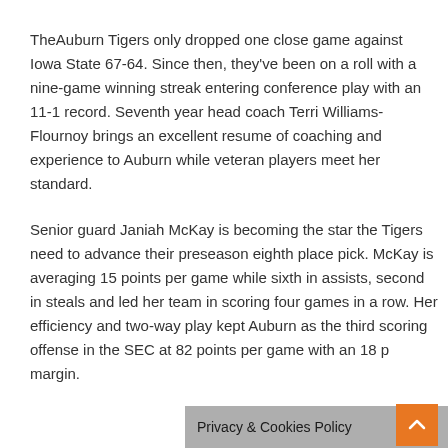TheAuburn Tigers only dropped one close game against Iowa State 67-64. Since then, they've been on a roll with a nine-game winning streak entering conference play with an 11-1 record. Seventh year head coach Terri Williams-Flournoy brings an excellent resume of coaching and experience to Auburn while veteran players meet her standard.
Senior guard Janiah McKay is becoming the star the Tigers need to advance their preseason eighth place pick. McKay is averaging 15 points per game while sixth in assists, second in steals and led her team in scoring four games in a row. Her efficiency and two-way play kept Auburn as the third scoring offense in the SEC at 82 points per game with an 18 point margin.
Privacy & Cookies Policy